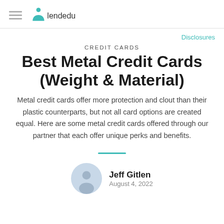lendedu
Disclosures
CREDIT CARDS
Best Metal Credit Cards (Weight & Material)
Metal credit cards offer more protection and clout than their plastic counterparts, but not all card options are created equal. Here are some metal credit cards offered through our partner that each offer unique perks and benefits.
Jeff Gitlen
August 4, 2022